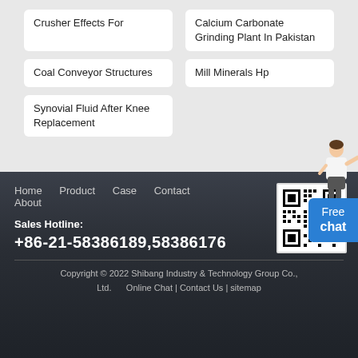Crusher Effects For
Calcium Carbonate Grinding Plant In Pakistan
Coal Conveyor Structures
Mill Minerals Hp
Synovial Fluid After Knee Replacement
[Figure (illustration): Woman in white blouse pointing, customer service character illustration]
Free chat
Home   Product   Case   Contact   About
[Figure (other): QR code for website/contact]
Sales Hotline:
+86-21-58386189,58386176
Copyright © 2022 Shibang Industry & Technology Group Co., Ltd.   Online Chat | Contact Us | sitemap